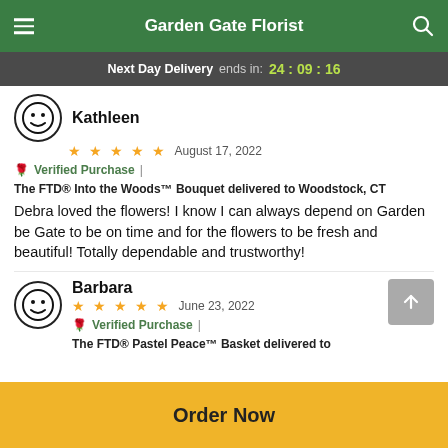Garden Gate Florist
Next Day Delivery ends in: 24:09:16
Kathleen
★★★★★ August 17, 2022
🌹 Verified Purchase | The FTD® Into the Woods™ Bouquet delivered to Woodstock, CT
Debra loved the flowers! I know I can always depend on Garden be Gate to be on time and for the flowers to be fresh and beautiful! Totally dependable and trustworthy!
Barbara
★★★★★ June 23, 2022
🌹 Verified Purchase | The FTD® Pastel Peace™ Basket delivered to
Order Now